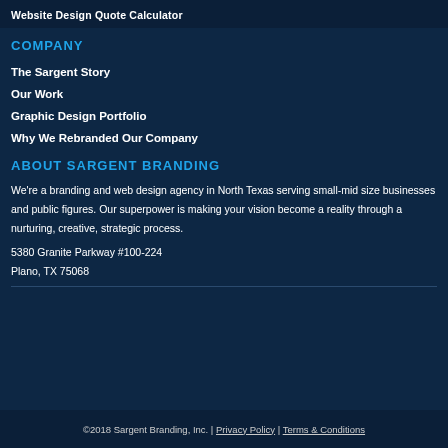Website Design Quote Calculator
COMPANY
The Sargent Story
Our Work
Graphic Design Portfolio
Why We Rebranded Our Company
ABOUT SARGENT BRANDING
We're a branding and web design agency in North Texas serving small-mid size businesses and public figures. Our superpower is making your vision become a reality through a nurturing, creative, strategic process.
5380 Granite Parkway #100-224
Plano, TX 75068
©2018 Sargent Branding, Inc. | Privacy Policy | Terms & Conditions